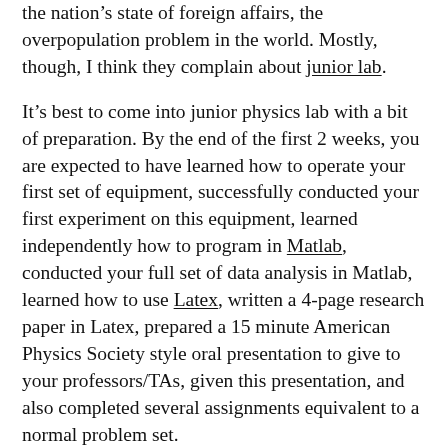the nation's state of foreign affairs, the overpopulation problem in the world. Mostly, though, I think they complain about junior lab.
It's best to come into junior physics lab with a bit of preparation. By the end of the first 2 weeks, you are expected to have learned how to operate your first set of equipment, successfully conducted your first experiment on this equipment, learned independently how to program in Matlab, conducted your full set of data analysis in Matlab, learned how to use Latex, written a 4-page research paper in Latex, prepared a 15 minute American Physics Society style oral presentation to give to your professors/TAs, given this presentation, and also completed several assignments equivalent to a normal problem set.
I had worked all summer in Latex and Matlab, and I was pretty grateful for it. At MIT, in certain departments, there are entire courses bent on teaching you Matlab. That was one thing that was pretty brutal about this